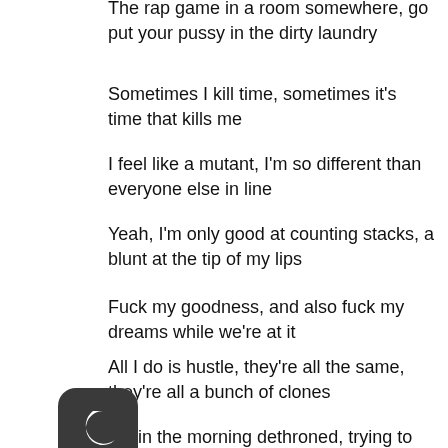The rap game in a room somewhere, go put your pussy in the dirty laundry
Sometimes I kill time, sometimes it's time that kills me
I feel like a mutant, I'm so different than everyone else in line
Yeah, I'm only good at counting stacks, a blunt at the tip of my lips
Fuck my goodness, and also fuck my dreams while we're at it
All I do is hustle, they're all the same, they're all a bunch of clones
Six in the morning dethroned, trying to draw back what got erased
…many bags of potatoes don't even know on which knee to dance on anymore
[Figure (illustration): Dark rounded square icon with a crescent moon symbol (night mode icon)]
On which knee to dance on